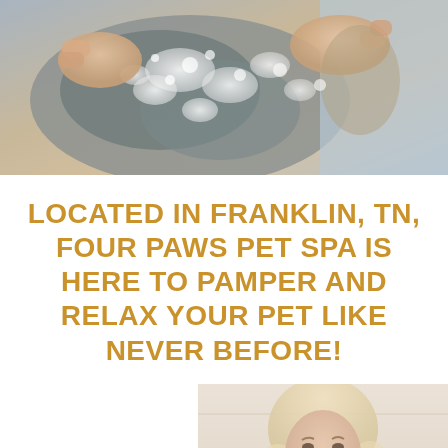[Figure (photo): Close-up photo of a dog being washed/bathed with soap and suds, human hands visible grooming the dog]
LOCATED IN FRANKLIN, TN, FOUR PAWS PET SPA IS HERE TO PAMPER AND RELAX YOUR PET LIKE NEVER BEFORE!
[Figure (photo): Photo of a blonde woman smiling, positioned on the right side of the lower section of the page, with a light wooden background]